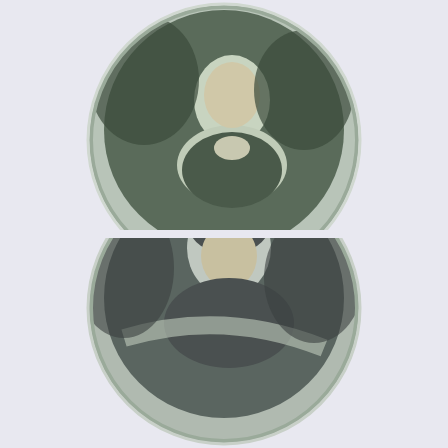[Figure (photo): Circular vintage photograph of Rev. Reginald A. Redman, partially cropped at top of page, showing a dark oval portrait photo of a man in formal attire]
Rev. Reginald A. Redman
1931 – 1937
[Figure (photo): Circular vintage photograph, partially cropped at bottom of page, showing a dark oval portrait photo of a person in formal attire, continuation from page]